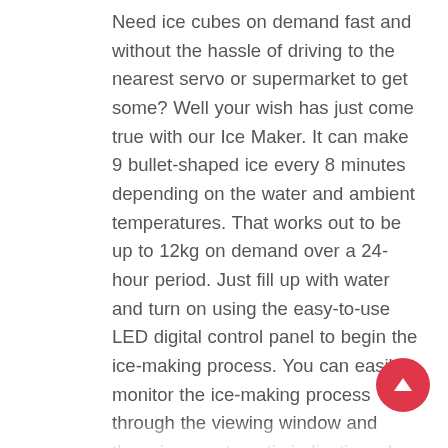Need ice cubes on demand fast and without the hassle of driving to the nearest servo or supermarket to get some? Well your wish has just come true with our Ice Maker. It can make 9 bullet-shaped ice every 8 minutes depending on the water and ambient temperatures. That works out to be up to 12kg on demand over a 24-hour period. Just fill up with water and turn on using the easy-to-use LED digital control panel to begin the ice-making process. You can easily monitor the ice-making process through the viewing window and there is an automatic indication when the ice container is full, or water level is low. Other great features include a large heat dissipation fan for excellent cooling, convenient water drainage plug and non-slip feet for a stable operation. Not least, the ensemble works ever-so-quietly and complies with current Australian standards. Perfect for commercial use at cafes and restaurants, and home use too for parties or ever so atmospheric occasions.